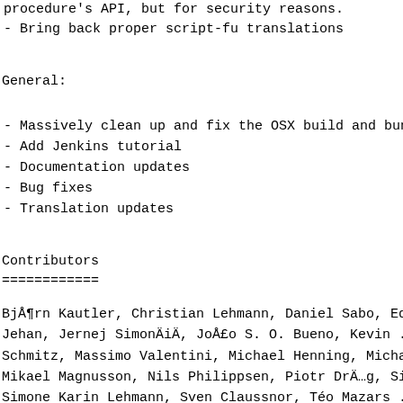- procedure's API, but for security reasons.
- Bring back proper script-fu translations
General:
- Massively clean up and fix the OSX build and bundle
- Add Jenkins tutorial
- Documentation updates
- Bug fixes
- Translation updates
Contributors
============
BjÃ¶rn Kautler, Christian Lehmann, Daniel Sabo, Ed ... Jehan, Jernej SimonÄ iÄ , JoÃ£o S. O. Bueno, Kevin ... Schmitz, Massimo Valentini, Michael Henning, Michael... Mikael Magnusson, Nils Philippsen, Piotr DrÄ…g, Sima... Simone Karin Lehmann, Sven Claussnor, Téo Mazars ...